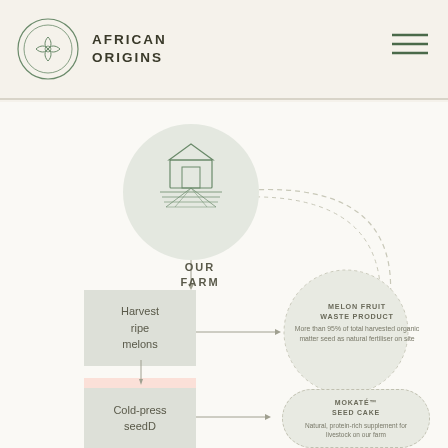[Figure (logo): African Origins circular logo with botanical/leaf motif in outline style]
AFRICAN ORIGINS
[Figure (flowchart): Process flow diagram showing farm-to-product lifecycle: Our Farm circle at top, connecting to Harvest ripe melons box, then MOKATÉ™ SEED (pink box), then Dry seeds with air and sunlight, then Cold-press seedD. Dashed circular arrows connect to side bubbles: Melon Fruit Waste Product, Animals circle, and Mokaté™ Seed Cake bubble.]
OUR FARM
Harvest ripe melons
MOKATÉ™ SEED
Dry seeds with air and sunlight
Cold-press seedD
MELON FRUIT WASTE PRODUCT
More than 95% of total harvested organic matter seed as natural fertiliser on site
ANIMALS
MOKATÉ™ SEED CAKE
Natural, protein-rich supplement for livestock on our farm